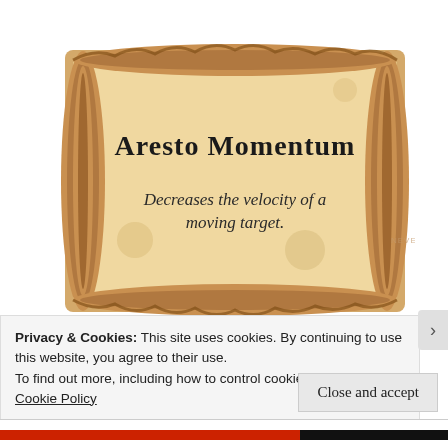[Figure (illustration): A parchment scroll graphic with the Harry Potter-style text 'Aresto Momentum' as the title and 'Decreases the velocity of a moving target.' as the body text. A faint watermark reads along the right side.]
Privacy & Cookies: This site uses cookies. By continuing to use this website, you agree to their use.
To find out more, including how to control cookies, see here: Cookie Policy
Close and accept